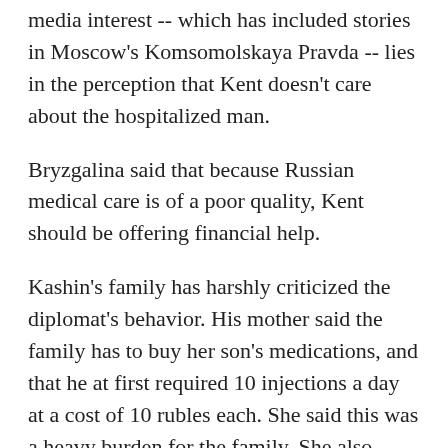Russians simply would have driven out the days media interest -- which has included stories in Moscow's Komsomolskaya Pravda -- lies in the perception that Kent doesn't care about the hospitalized man.
Bryzgalina said that because Russian medical care is of a poor quality, Kent should be offering financial help.
Kashin's family has harshly criticized the diplomat's behavior. His mother said the family has to buy her son's medications, and that he at first required 10 injections a day at a cost of 10 rubles each. She said this was a heavy burden for the family. She also expressed anger because she said Kent had never called to apologize.